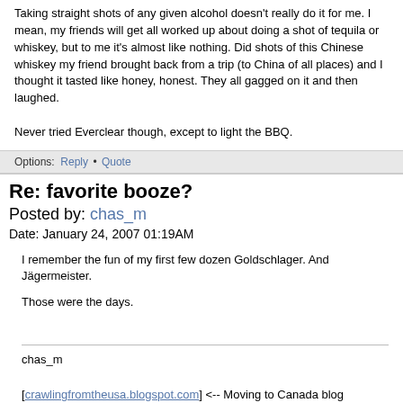Taking straight shots of any given alcohol doesn't really do it for me. I mean, my friends will get all worked up about doing a shot of tequila or whiskey, but to me it's almost like nothing. Did shots of this Chinese whiskey my friend brought back from a trip (to China of all places) and I thought it tasted like honey, honest. They all gagged on it and then laughed.

Never tried Everclear though, except to light the BBQ.
Options: Reply • Quote
Re: favorite booze?
Posted by: chas_m
Date: January 24, 2007 01:19AM
I remember the fun of my first few dozen Goldschlager. And Jägermeister.

Those were the days.
chas_m

[crawlingfromtheusa.blogspot.com] <-- Moving to Canada blog
Options: Reply • Quote
Re: favorite booze?